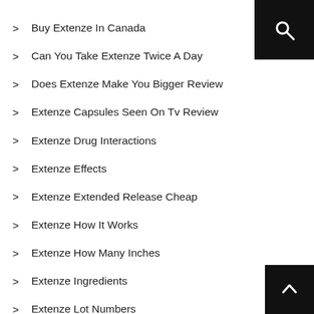[Figure (other): Search icon button (magnifying glass) in black square, top-right corner]
Buy Extenze In Canada
Can You Take Extenze Twice A Day
Does Extenze Make You Bigger Review
Extenze Capsules Seen On Tv Review
Extenze Drug Interactions
Extenze Effects
Extenze Extended Release Cheap
Extenze How It Works
Extenze How Many Inches
Extenze Ingredients
Extenze Lot Numbers
[Figure (other): Back to top button with upward caret arrow in black square, bottom-right corner]